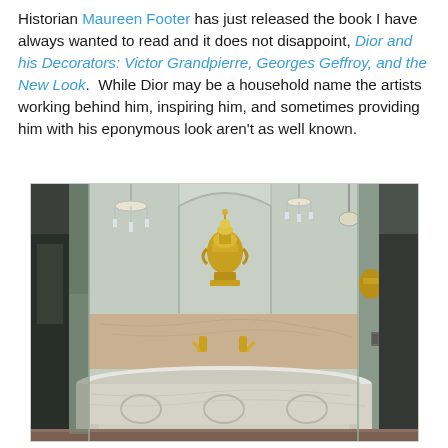Historian Maureen Footer has just released the book I have always wanted to read and it does not disappoint, Dior and his Decorators: Victor Grandpierre, Georges Geffroy, and the New Look. While Dior may be a household name the artists working behind him, inspiring him, and sometimes providing him with his eponymous look aren't as well known.
[Figure (photo): Interior photo showing a luxurious bathroom with a large white marble freestanding bathtub in the foreground. Behind it is a marble backsplash with ornate gold/brass faucets. A large gold decorative urn/vase sits in an arched niche. The room is reflected in mirrored panels, showing crystal chandeliers hanging from the ceiling. The overall aesthetic is opulent and classical French in style.]